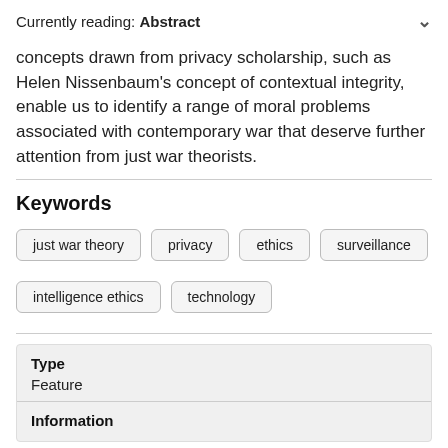Currently reading: Abstract
concepts drawn from privacy scholarship, such as Helen Nissenbaum's concept of contextual integrity, enable us to identify a range of moral problems associated with contemporary war that deserve further attention from just war theorists.
Keywords
just war theory
privacy
ethics
surveillance
intelligence ethics
technology
| Type |  |
| --- | --- |
| Feature |  |
| Information |  |
Information